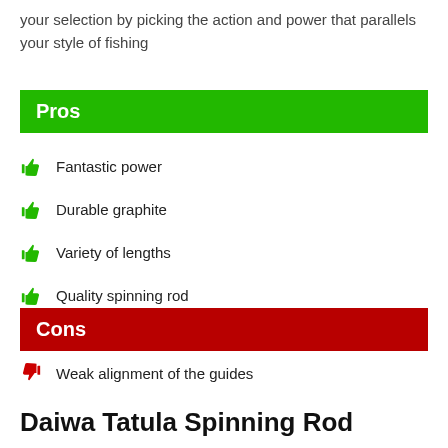your selection by picking the action and power that parallels your style of fishing
Pros
Fantastic power
Durable graphite
Variety of lengths
Quality spinning rod
Cons
Weak alignment of the guides
Daiwa Tatula Spinning Rod